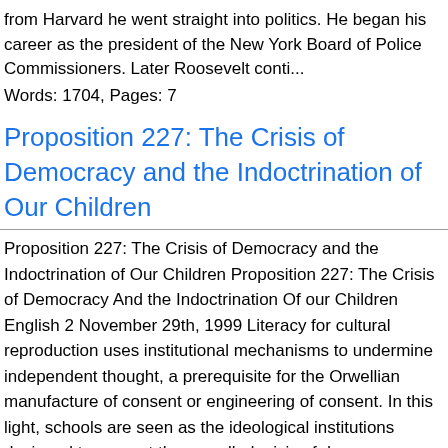from Harvard he went straight into politics. He began his career as the president of the New York Board of Police Commissioners. Later Roosevelt conti...
Words: 1704, Pages: 7
Proposition 227: The Crisis of Democracy and the Indoctrination of Our Children
Proposition 227: The Crisis of Democracy and the Indoctrination of Our Children Proposition 227: The Crisis of Democracy And the Indoctrination Of our Children English 2 November 29th, 1999 Literacy for cultural reproduction uses institutional mechanisms to undermine independent thought, a prerequisite for the Orwellian manufacture of consent or engineering of consent. In this light, schools are seen as the ideological institutions designed to prevent the so-called crisis of democracy. anoth...